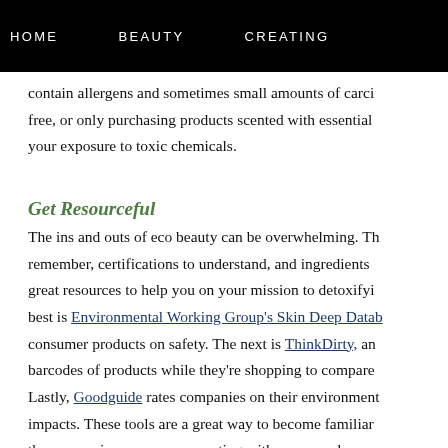HOME   BEAUTY   CREATING
contain allergens and sometimes small amounts of carci... free, or only purchasing products scented with essential... your exposure to toxic chemicals.
Get Resourceful
The ins and outs of eco beauty can be overwhelming. Th... remember, certifications to understand, and ingredients... great resources to help you on your mission to detoxifyi... best is Environmental Working Group's Skin Deep Datab... consumer products on safety. The next is ThinkDirty, an... barcodes of products while they're shopping to compare... Lastly, Goodguide rates companies on their environment... impacts. These tools are a great way to become familiar... the companies your are supporting with your purchases.